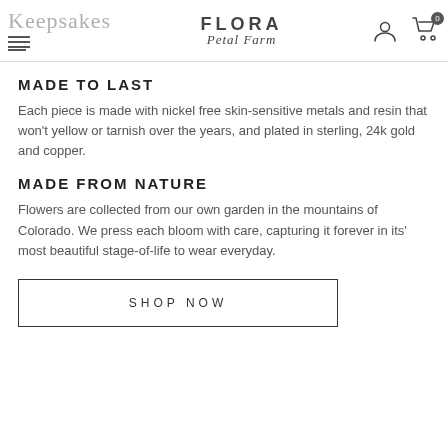Keepsakes — Flora Petal Farm (navigation header with hamburger, logo, account and cart icons)
MADE TO LAST
Each piece is made with nickel free skin-sensitive metals and resin that won't yellow or tarnish over the years, and plated in sterling, 24k gold and copper.
MADE FROM NATURE
Flowers are collected from our own garden in the mountains of Colorado. We press each bloom with care, capturing it forever in its' most beautiful stage-of-life to wear everyday.
SHOP NOW